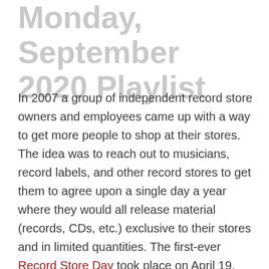Monday, September 2020 Playlist
In 2007 a group of independent record store owners and employees came up with a way to get more people to shop at their stores. The idea was to reach out to musicians, record labels, and other record stores to get them to agree upon a single day a year where they would all release material (records, CDs, etc.) exclusive to their stores and in limited quantities. The first-ever Record Store Day took place on April 19, 2008, (which coincidentally was my 38th Birthday). It was and continues to be a success for reviving Independent record stores